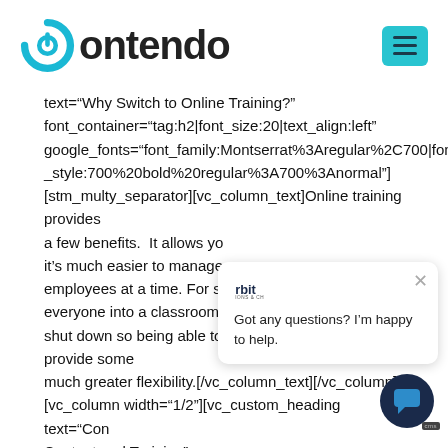[Figure (logo): Contendo logo with cyan power/play button icon on the left and bold text 'Contendo' on the right, plus a cyan hamburger menu button in the top right corner]
text="Why Switch to Online Training?" font_container="tag:h2|font_size:20|text_align:left" google_fonts="font_family:Montserrat%3Aregular%2C700|font_style:700%20bold%20regular%3A700%3Anormal"] [stm_multy_separator][vc_column_text]Online training provides a few benefits.  It allows yo it's much easier to manage employees at a time. For s everyone into a classroom shut down so being able to do it online certainly provide some much greater flexibility.[/vc_column_text][/vc_column] [vc_column width="1/2"][vc_custom_heading text="Cons Content and Training",
[Figure (screenshot): Chat widget overlay showing an 'orbit' branded chat popup with the message 'Got any questions? I'm happy to help.' and a dark circular chat avatar button at the bottom right with a CMS badge]